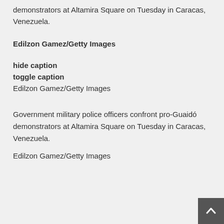demonstrators at Altamira Square on Tuesday in Caracas, Venezuela.
Edilzon Gamez/Getty Images
hide caption
toggle caption
Edilzon Gamez/Getty Images
Government military police officers confront pro-Guaidó demonstrators at Altamira Square on Tuesday in Caracas, Venezuela.
Edilzon Gamez/Getty Images